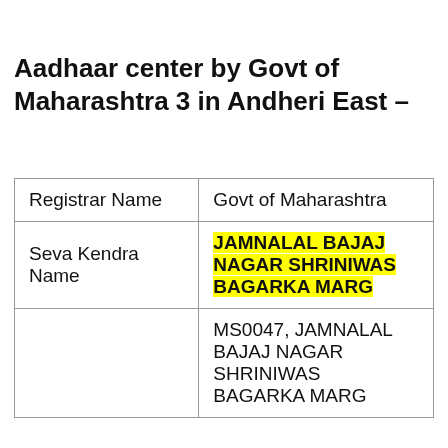Aadhaar center by Govt of Maharashtra 3 in Andheri East –
|  |  |
| --- | --- |
| Registrar Name | Govt of Maharashtra |
| Seva Kendra Name | JAMNALAL BAJAJ NAGAR SHRINIWAS BAGARKA MARG |
|  | MS0047, JAMNALAL BAJAJ NAGAR SHRINIWAS BAGARKA MARG |